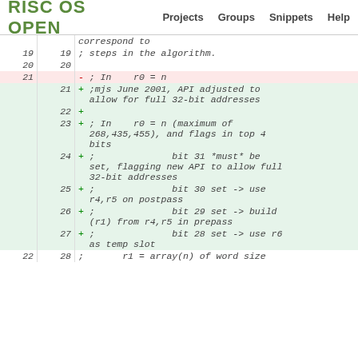RISC OS OPEN   Projects   Groups   Snippets   Help
| old | new | code |
| --- | --- | --- |
|  |  | correspond to |
| 19 | 19 | ; steps in the algorithm. |
| 20 | 20 |  |
| 21 |  | - ; In    r0 = n |
|  | 21 | + ;mjs June 2001, API adjusted to allow for full 32-bit addresses |
|  | 22 | + |
|  | 23 | + ; In    r0 = n (maximum of 268,435,455), and flags in top 4 bits |
|  | 24 | + ;              bit 31 *must* be set, flagging new API to allow full 32-bit addresses |
|  | 25 | + ;              bit 30 set -> use r4,r5 on postpass |
|  | 26 | + ;              bit 29 set -> build (r1) from r4,r5 in prepass |
|  | 27 | + ;              bit 28 set -> use r6 as temp slot |
| 22 | 28 | ;       r1 = array(n) of word size |